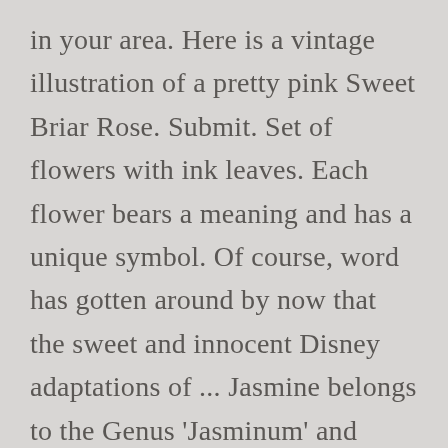in your area. Here is a vintage illustration of a pretty pink Sweet Briar Rose. Submit. Set of flowers with ink leaves. Each flower bears a meaning and has a unique symbol. Of course, word has gotten around by now that the sweet and innocent Disney adaptations of ... Jasmine belongs to the Genus 'Jasminum' and includes over 200 species of plants, most of which originated in tropical and sub-tropical areas. Oct 13, 2018 – Most flowers have pleasant symbolic meanings, but a few that connotes hatred, revenge, and infidelity. Learn more. Hence, if you have an idea about flower ... A Briar Rose to climb the walls of the WQ RC? Information and translations of sweetbriar in